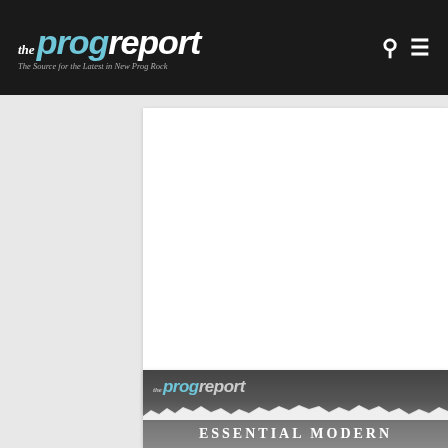the prog report – The Source for the Latest in New Prog Rock
[Figure (other): White rectangular advertisement/content placeholder box]
[Figure (other): The Prog Report Essential Modern card with torn paper graphic and logo at bottom of page]